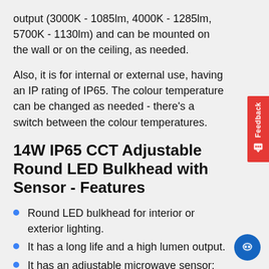output (3000K - 1085lm, 4000K - 1285lm, 5700K - 1130lm) and can be mounted on the wall or on the ceiling, as needed.
Also, it is for internal or external use, having an IP rating of IP65. The colour temperature can be changed as needed - there's a switch between the colour temperatures.
14W IP65 CCT Adjustable Round LED Bulkhead with Sensor - Features
Round LED bulkhead for interior or exterior lighting.
It has a long life and a high lumen output.
It has an adjustable microwave sensor; detection, lux and hold time
Sensor detection range: Adjustable to maximum 12m depending on location